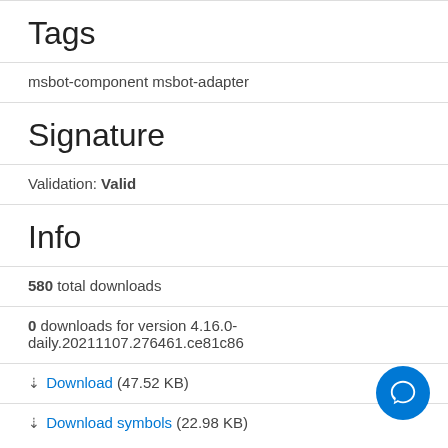Tags
msbot-component msbot-adapter
Signature
Validation: Valid
Info
580 total downloads
0 downloads for version 4.16.0-daily.20211107.276461.ce81c86
Download (47.52 KB)
Download symbols (22.98 KB)